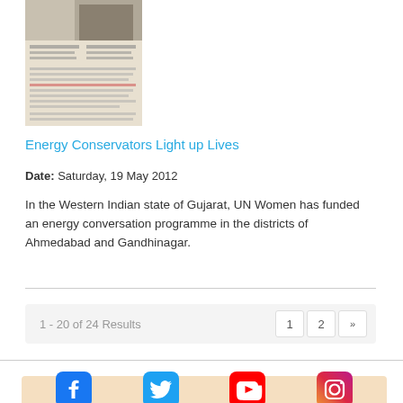[Figure (other): Thumbnail image of a newsletter or magazine page about energy conservators]
Energy Conservators Light up Lives
Date: Saturday, 19 May 2012
In the Western Indian state of Gujarat, UN Women has funded an energy conversation programme in the districts of Ahmedabad and Gandhinagar.
1 - 20 of 24 Results
Follow us
[Figure (logo): Social media icons: Facebook, Twitter, YouTube, Instagram]